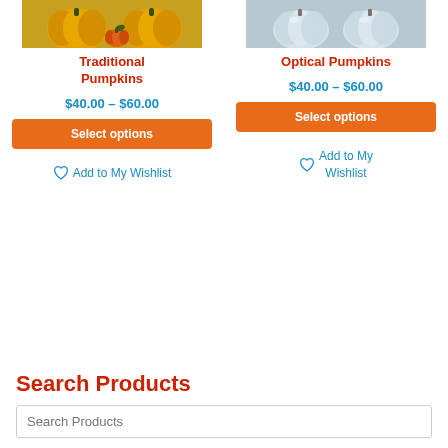[Figure (photo): Photo of traditional orange pumpkins with a small decorative pumpkin — yellow/orange tones]
[Figure (photo): Photo of optical/glass pumpkins — clear/white/grey tones]
Traditional Pumpkins
$40.00 – $60.00
Select options
Add to My Wishlist
Optical Pumpkins
$40.00 – $60.00
Select options
Add to My Wishlist
Search Products
Search Products